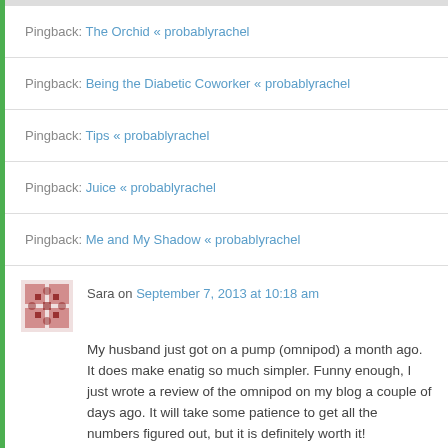Pingback: The Orchid « probablyrachel
Pingback: Being the Diabetic Coworker « probablyrachel
Pingback: Tips « probablyrachel
Pingback: Juice « probablyrachel
Pingback: Me and My Shadow « probablyrachel
Sara on September 7, 2013 at 10:18 am
My husband just got on a pump (omnipod) a month ago. It does make enatig so much simpler. Funny enough, I just wrote a review of the omnipod on my blog a couple of days ago. It will take some patience to get all the numbers figured out, but it is definitely worth it!
↳ Reply